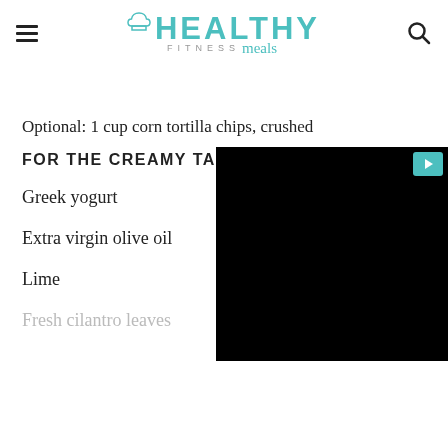Healthy Fitness Meals
Optional: 1 cup corn tortilla chips, crushed
FOR THE CREAMY TAC[O SAUCE]
Greek yogurt
Extra virgin olive oil
Lime
Fresh cilantro leaves